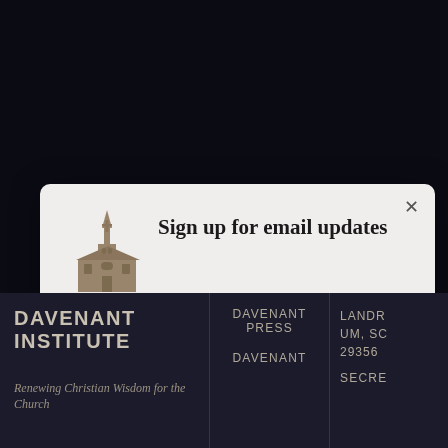[Figure (screenshot): Website popup modal for email subscription on dark background with footer navigation]
Sign up for email updates
We'll send you regular emails with our latest videos, podcasts, event announcements, and other resources to connect you with the tradition of Christian wisdom.
Subscribe now
DAVENANT INSTITUTE
Renewing Christian Wisdom for the Church
DAVENANT PRESS
DAVENANT
LANDRUM, SC 29356
SECRE